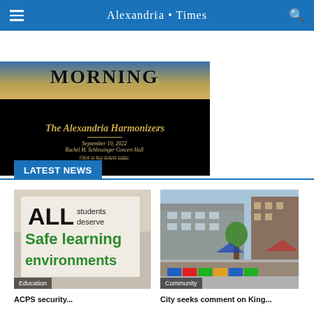Alexandria Times
[Figure (photo): Advertisement for The Alexandria Harmonizers concert. Background shows sunrise sky with text 'MORNING' at top, then black section with gold italic text: 'The Alexandria Harmonizers', divider line, 'September 10, 2022', 'Rachel M. Schlessinger Concert Hall', 'Click to buy tickets today.']
LATEST NEWS
[Figure (photo): Photo of a protest sign reading 'ALL students deserve safe learning environments' with label 'Education']
[Figure (photo): Photo of a street scene with buildings, pedestrians, and colorful barriers with label 'Community']
ACPS...security
City seeks comment on King...